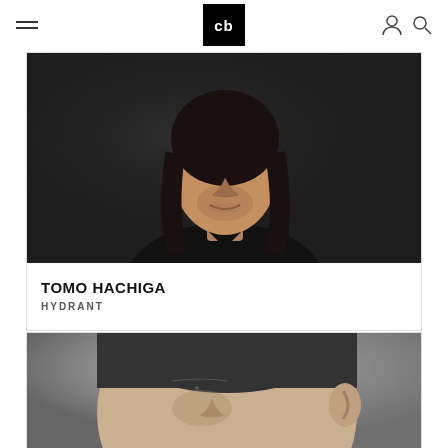cb (logo) — hamburger menu, user icon, search icon
[Figure (photo): Portrait photo of Tomo Hachiga — man with long dark hair wearing a black v-neck shirt against a dark background]
TOMO HACHIGA
HYDRANT
[Figure (photo): Black and white close-up portrait of a man with eyes closed, head slightly tilted, showing ear and side of face]